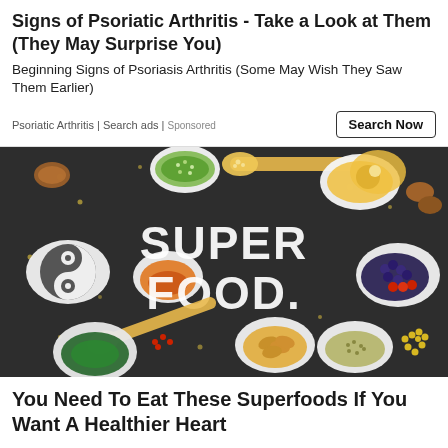Signs of Psoriatic Arthritis - Take a Look at Them (They May Surprise You)
Beginning Signs of Psoriasis Arthritis (Some May Wish They Saw Them Earlier)
Psoriatic Arthritis | Search ads | Sponsored
[Figure (photo): Dark chalkboard background with various bowls and spoons of superfoods (seeds, berries, nuts, legumes) arranged around chalk lettering that reads SUPER FOOD.]
You Need To Eat These Superfoods If You Want A Healthier Heart